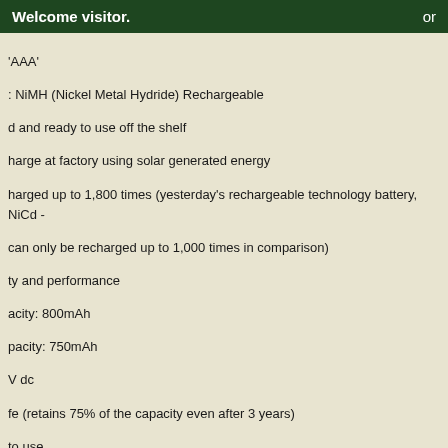Welcome visitor.   or
'AAA'
: NiMH (Nickel Metal Hydride) Rechargeable
d and ready to use off the shelf
harge at factory using solar generated energy
harged up to 1,800 times (yesterday's rechargeable technology battery, NiCd - can only be recharged up to 1,000 times in comparison)
ty and performance
acity: 800mAh
pacity: 750mAh
V dc
fe (retains 75% of the capacity even after 3 years)
to use
tally friendly
temperatures down to as low as -20oC
ded for high drain devices
ions: 10.5(d) x 44.5(h) mm
rox. 13g
Tags:
economical
enviromentally friendly
rechargable batteries
Other listings you may be interested in: